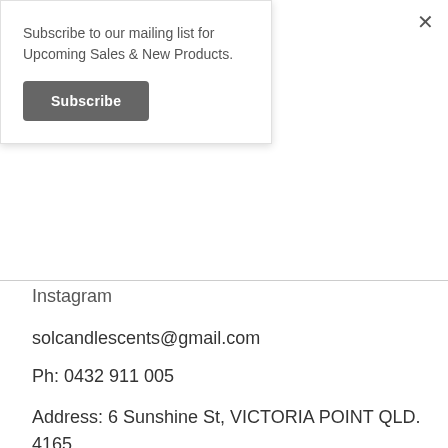Subscribe to our mailing list for Upcoming Sales & New Products.
Subscribe
Instagram
solcandlescents@gmail.com
Ph: 0432 911 005
Address: 6 Sunshine St, VICTORIA POINT QLD. 4165
SUBSCRIBE FOR UPDATES
Your Name
Your Email